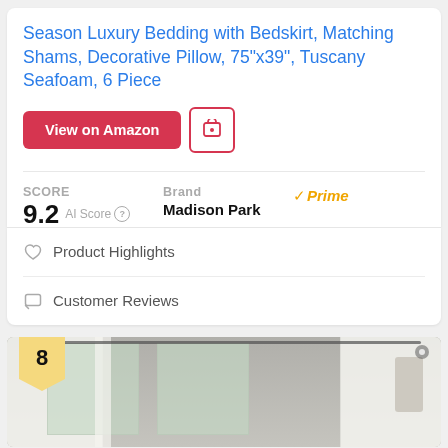Season Luxury Bedding with Bedskirt, Matching Shams, Decorative Pillow, 75"x39", Tuscany Seafoam, 6 Piece
View on Amazon
SCORE
9.2  AI Score
Brand
Madison Park
✓Prime
♡  Product Highlights
□  Customer Reviews
[Figure (photo): Product listing image showing white sheer curtains on a window with natural light, number badge 8 in gold/yellow at lower left corner]